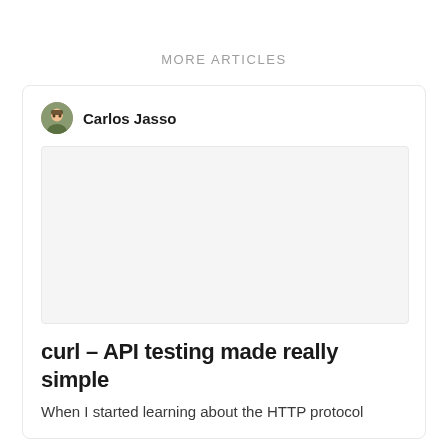MORE ARTICLES
Carlos Jasso
[Figure (photo): Article thumbnail image placeholder, light gray rectangle]
curl – API testing made really simple
When I started learning about the HTTP protocol